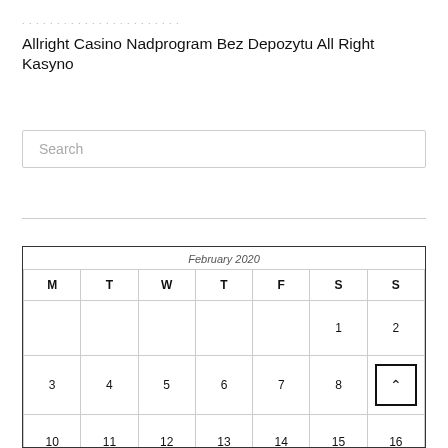Allright Casino Nadprogram Bez Depozytu All Right Kasyno
Search
| M | T | W | T | F | S | S |
| --- | --- | --- | --- | --- | --- | --- |
|  |  |  |  |  | 1 | 2 |
| 3 | 4 | 5 | 6 | 7 | 8 | 9 |
| 10 | 11 | 12 | 13 | 14 | 15 | 16 |